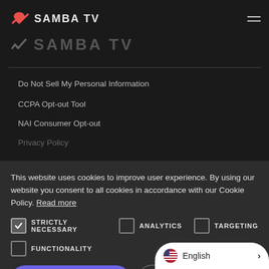SAMBA TV
[Figure (logo): Samba TV logo with heart/check icon in coral/red and text 'SAMBA TV']
Do Not Sell My Personal Information
CCPA Opt-out Tool
NAI Consumer Opt-out
Privacy Policy
This website uses cookies to improve user experience. By using our website you consent to all cookies in accordance with our Cookie Policy. Read more
STRICTLY NECESSARY  ANALYTICS  TARGETING
FUNCTIONALITY
ACCEPT  DECLINE